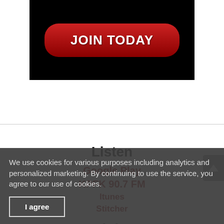[Figure (screenshot): Black banner with a red rounded button labeled JOIN TODAY in white bold text]
Listen
Google Play
KPFK 90.7 FM
Itunes
Stitcher
Links
We use cookies for various purposes including analytics and personalized marketing. By continuing to use the service, you agree to our use of cookies.
I agree